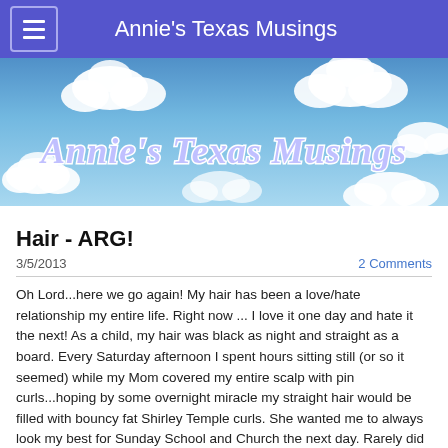Annie's Texas Musings
[Figure (illustration): Blog banner image showing a blue sky with fluffy white clouds and the text 'Annie's Texas Musings' in cursive purple/lavender lettering with white outline]
Hair - ARG!
3/5/2013
2 Comments
Oh Lord...here we go again!  My hair has been a love/hate relationship my entire life.  Right now ... I love it one day and hate it the next!  As a child, my hair was black as night and straight as a board.  Every Saturday afternoon I spent hours sitting still (or so it seemed) while my Mom covered my entire scalp with pin curls...hoping by some overnight miracle my straight hair would be filled with bouncy fat Shirley Temple curls.  She wanted me to always look my best for Sunday School and Church the next day.  Rarely did we get home with even one curl left.